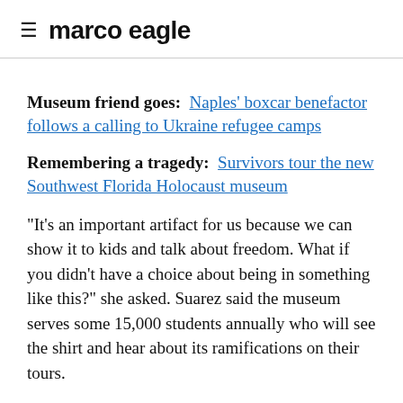marco eagle
Museum friend goes: Naples' boxcar benefactor follows a calling to Ukraine refugee camps
Remembering a tragedy: Survivors tour the new Southwest Florida Holocaust museum
"It's an important artifact for us because we can show it to kids and talk about freedom. What if you didn't have a choice about being in something like this?" she asked. Suarez said the museum serves some 15,000 students annually who will see the shirt and hear about its ramifications on their tours.
Choral Artistry, the Fort Myers-based choir known